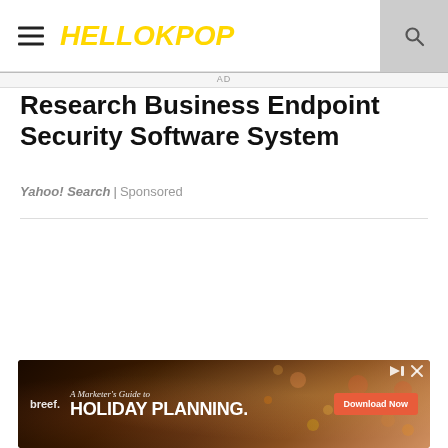HELLOKPOP
Research Business Endpoint Security Software System
Yahoo! Search | Sponsored
[Figure (screenshot): White content area with gradient fade and chevron down button]
[Figure (photo): Advertisement banner: breef. A Marketer's Guide to HOLIDAY PLANNING. Download Now button. Bokeh/confetti background.]